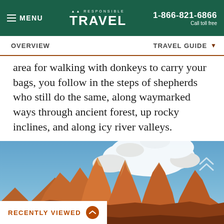≡ MENU  ✦✦ RESPONSIBLE TRAVEL  1-866-821-6866 Call toll free
OVERVIEW    TRAVEL GUIDE ▼
area for walking with donkeys to carry your bags, you follow in the steps of shepherds who still do the same, along waymarked ways through ancient forest, up rocky inclines, and along icy river valleys.
[Figure (photo): Mountain peaks with orange/golden rocky spires against a blue sky with white clouds, dramatic alpine landscape at sunrise or sunset]
RECENTLY VIEWED